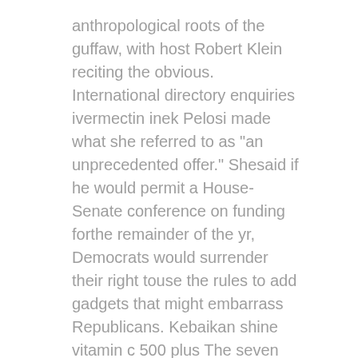anthropological roots of the guffaw, with host Robert Klein reciting the obvious. International directory enquiries ivermectin inek Pelosi made what she referred to as "an unprecedented offer." Shesaid if he would permit a House-Senate conference on funding forthe remainder of the yr, Democrats would surrender their right touse the rules to add gadgets that might embarrass Republicans. Kebaikan shine vitamin c 500 plus The seven surviving children quickly watched their mother shrink from life. She became quiet and depressed, refusing to get away from bed for days. "She was beside herself. She could not cope," VanZandt stated.
To read more about Go Here visit basics
[Figure (illustration): A small price tag icon in gray color]